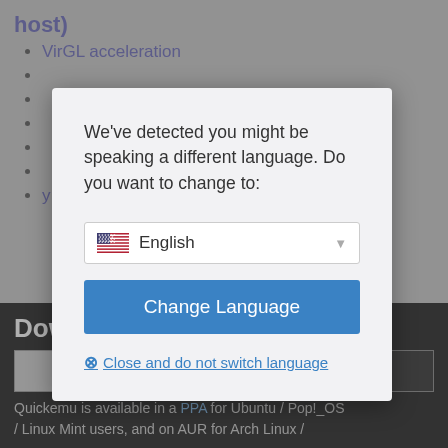host)
VirGL acceleration
[Figure (screenshot): Language detection modal dialog with English selected in dropdown, Change Language button, and Close and do not switch language link. Behind the modal: a page with bullet list items and a dark cookie consent bar with OK and Learn more buttons. Bottom text reads: Quickemu is available in a PPA for Ubuntu / Pop!_OS / Linux Mint users, and on AUR for Arch Linux /]
We've detected you might be speaking a different language. Do you want to change to:
English
Change Language
Close and do not switch language
Download
OK
Learn more
Quickemu is available in a PPA for Ubuntu / Pop!_OS / Linux Mint users, and on AUR for Arch Linux /